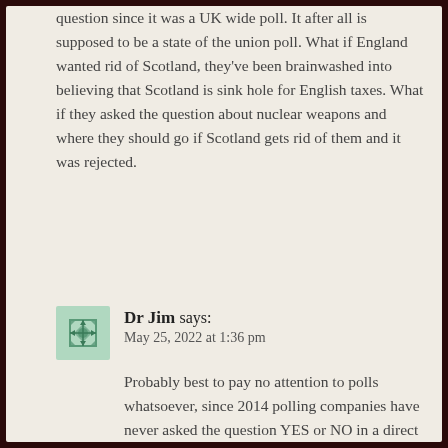question since it was a UK wide poll. It after all is supposed to be a state of the union poll. What if England wanted rid of Scotland, they've been brainwashed into believing that Scotland is sink hole for English taxes. What if they asked the question about nuclear weapons and where they should go if Scotland gets rid of them and it was rejected.
Dr Jim says: May 25, 2022 at 1:36 pm
Probably best to pay no attention to polls whatsoever, since 2014 polling companies have never asked the question YES or NO in a direct method, most polling follows the method of asking ambiguous questions involving